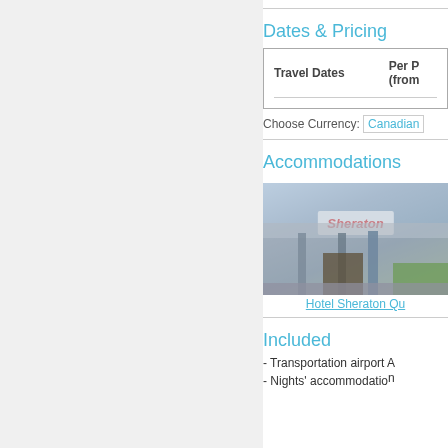Dates & Pricing
| Travel Dates | Per P (from) |
| --- | --- |
Choose Currency: Canadian
Accommodations
[Figure (photo): Photo of Hotel Sheraton exterior with Sheraton sign]
Hotel Sheraton Qu
Included
- Transportation airport A
- Nights' accommodation